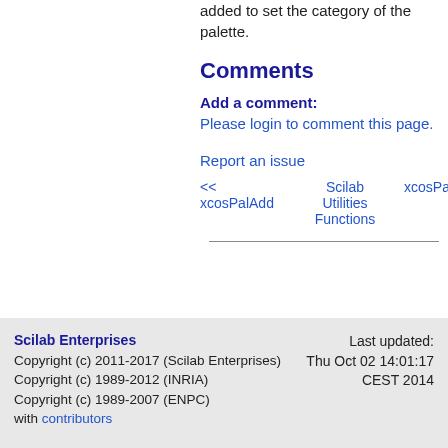added to set the category of the palette.
Comments
Add a comment:
Please login to comment this page.
Report an issue
<< xcosPalAdd   Scilab Utilities Functions   xcosPa
Scilab Enterprises
Copyright (c) 2011-2017 (Scilab Enterprises)
Copyright (c) 1989-2012 (INRIA)
Copyright (c) 1989-2007 (ENPC)
with contributors

Last updated:
Thu Oct 02 14:01:17 CEST 2014